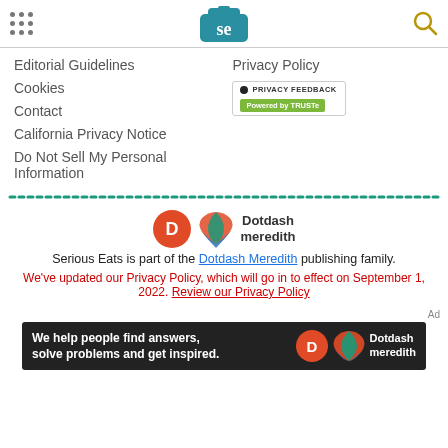Serious Eats header with navigation dots, SE logo, and search icon
Editorial Guidelines
Privacy Policy
Cookies
[Figure (logo): Privacy Feedback badge - Powered by TRUSTe]
Contact
California Privacy Notice
Do Not Sell My Personal Information
[Figure (logo): Dotdash Meredith logo]
Serious Eats is part of the Dotdash Meredith publishing family.
We've updated our Privacy Policy, which will go in to effect on September 1, 2022. Review our Privacy Policy
[Figure (illustration): Dotdash Meredith advertisement banner: We help people find answers, solve problems and get inspired.]